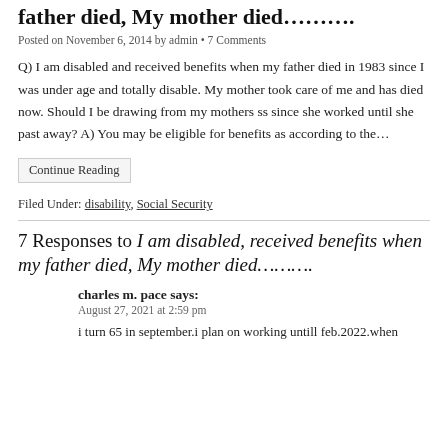father died, My mother died……….
Posted on November 6, 2014 by admin • 7 Comments
Q) I am disabled and received benefits when my father died in 1983 since I was under age and totally disable. My mother took care of me and has died now. Should I be drawing from my mothers ss since she worked until she past away? A) You may be eligible for benefits as according to the…
Continue Reading
Filed Under: disability, Social Security
7 Responses to I am disabled, received benefits when my father died, My mother died……….
charles m. pace says:
August 27, 2021 at 2:59 pm
i turn 65 in september.i plan on working untill feb.2022.when